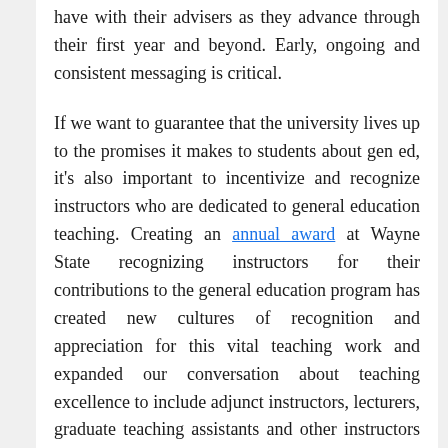have with their advisers as they advance through their first year and beyond. Early, ongoing and consistent messaging is critical.
If we want to guarantee that the university lives up to the promises it makes to students about gen ed, it's also important to incentivize and recognize instructors who are dedicated to general education teaching. Creating an annual award at Wayne State recognizing instructors for their contributions to the general education program has created new cultures of recognition and appreciation for this vital teaching work and expanded our conversation about teaching excellence to include adjunct instructors, lecturers, graduate teaching assistants and other instructors who do so